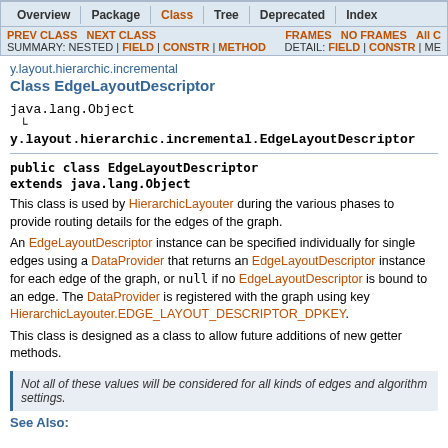Overview | Package | Class | Tree | Deprecated | Index
PREV CLASS  NEXT CLASS    FRAMES  NO FRAMES  All C
SUMMARY: NESTED | FIELD | CONSTR | METHOD    DETAIL: FIELD | CONSTR | ME
y.layout.hierarchic.incremental
Class EdgeLayoutDescriptor
java.lang.Object
  └ y.layout.hierarchic.incremental.EdgeLayoutDescriptor
This class is used by HierarchicLayouter during the various phases to provide routing details for the edges of the graph.
An EdgeLayoutDescriptor instance can be specified individually for single edges using a DataProvider that returns an EdgeLayoutDescriptor instance for each edge of the graph, or null if no EdgeLayoutDescriptor is bound to an edge. The DataProvider is registered with the graph using key HierarchicLayouter.EDGE_LAYOUT_DESCRIPTOR_DPKEY.
This class is designed as a class to allow future additions of new getter methods.
Not all of these values will be considered for all kinds of edges and algorithm settings.
See Also: